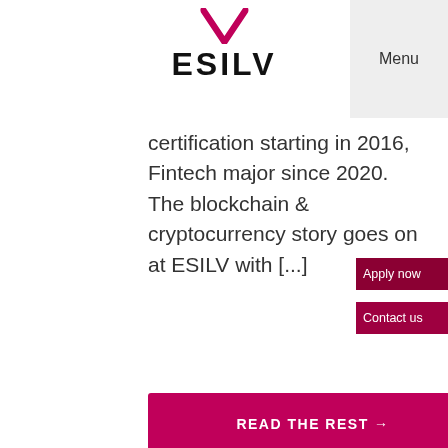ESILV
certification starting in 2016, Fintech major since 2020. The blockchain & cryptocurrency story goes on at ESILV with [...]
Apply now
Contact us
READ THE REST →
[Figure (photo): Person working at a multi-monitor trading/coding workstation with financial charts on screens]
2
DEC
2021